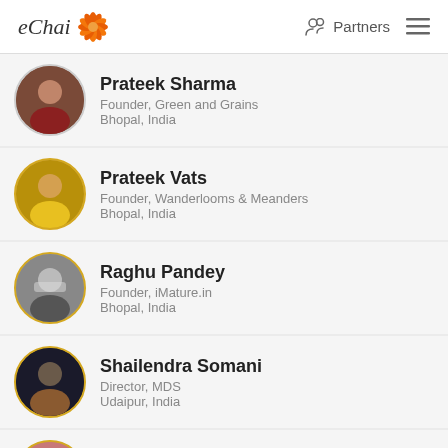eChai | Partners
Prateek Sharma | Founder, Green and Grains | Bhopal, India
Prateek Vats | Founder, Wanderlooms & Meanders | Bhopal, India
Raghu Pandey | Founder, iMature.in | Bhopal, India
Shailendra Somani | Director, MDS | Udaipur, India
Prashant Kulkarni | Co-Founder, Chatar Patar | Indore, India
Karmesh Gupta | Co-Founder & CEO, WiJungle